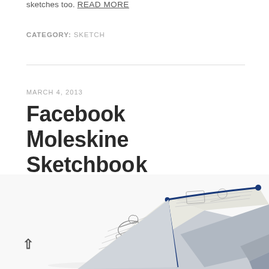sketches too. READ MORE
CATEGORY: SKETCH
MARCH 4, 2013
Facebook Moleskine Sketchbook
[Figure (photo): A Moleskine sketchbook open and propped at an angle, showing illustrated pages inside, with a dark blue elastic band, viewed from above on a white background.]